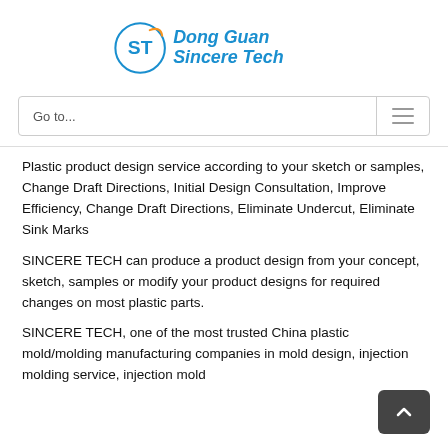[Figure (logo): Dong Guan Sincere Tech company logo with blue 'ST' circular emblem and blue/orange text reading 'Dong Guan Sincere Tech']
Go to...
Plastic product design service according to your sketch or samples, Change Draft Directions, Initial Design Consultation, Improve Efficiency, Change Draft Directions, Eliminate Undercut, Eliminate Sink Marks
SINCERE TECH can produce a product design from your concept, sketch, samples or modify your product designs for required changes on most plastic parts.
SINCERE TECH, one of the most trusted China plastic mold/molding manufacturing companies in mold design, injection molding service, injection mold